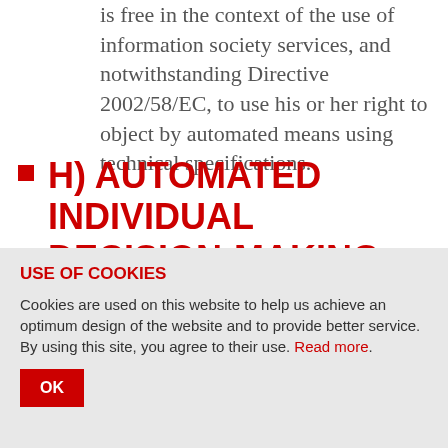is free in the context of the use of information society services, and notwithstanding Directive 2002/58/EC, to use his or her right to object by automated means using technical specifications.
H) AUTOMATED INDIVIDUAL DECISION-MAKING, INCLUDING PROFILING
USE OF COOKIES
Cookies are used on this website to help us achieve an optimum design of the website and to provide better service. By using this site, you agree to their use. Read more.